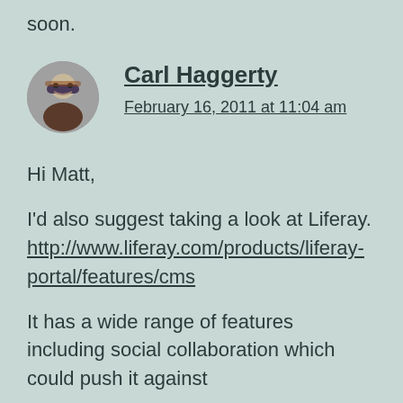soon.
[Figure (photo): Circular avatar photo of Carl Haggerty, a man with glasses and a beard wearing a plaid shirt]
Carl Haggerty
February 16, 2011 at 11:04 am
Hi Matt,
I'd also suggest taking a look at Liferay. http://www.liferay.com/products/liferay-portal/features/cms
It has a wide range of features including social collaboration which could push it against